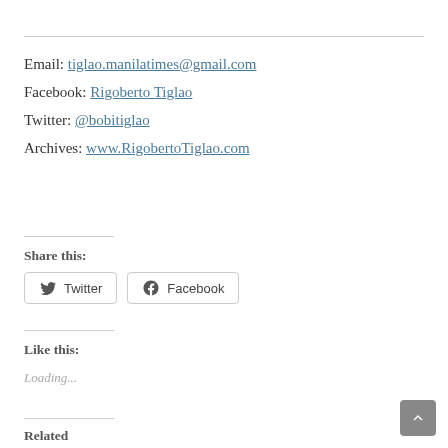Email: tiglao.manilatimes@gmail.com
Facebook: Rigoberto Tiglao
Twitter: @bobitiglao
Archives: www.RigobertoTiglao.com
Share this:
[Figure (other): Twitter share button]
[Figure (other): Facebook share button]
Like this:
Loading...
Related